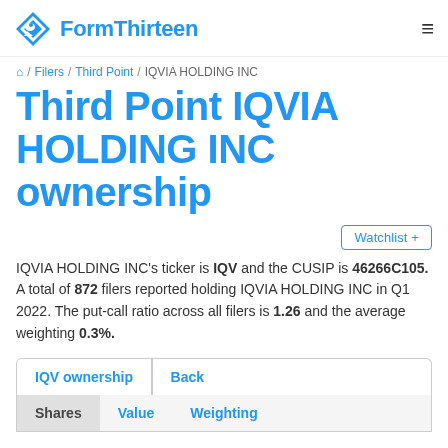FormThirteen
🏠 / Filers / Third Point / IQVIA HOLDING INC
Third Point IQVIA HOLDING INC ownership
Watchlist +
IQVIA HOLDING INC's ticker is IQV and the CUSIP is 46266C105. A total of 872 filers reported holding IQVIA HOLDING INC in Q1 2022. The put-call ratio across all filers is 1.26 and the average weighting 0.3%.
IQV ownership | Back
Shares | Value | Weighting